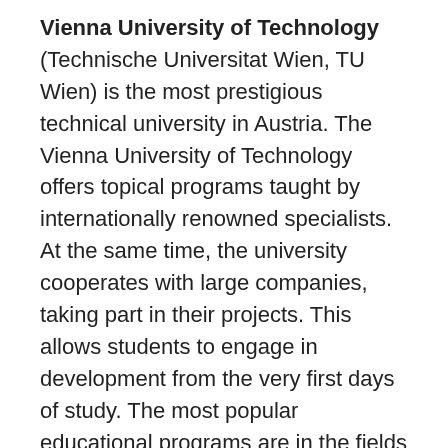Vienna University of Technology (Technische Universitat Wien, TU Wien) is the most prestigious technical university in Austria. The Vienna University of Technology offers topical programs taught by internationally renowned specialists. At the same time, the university cooperates with large companies, taking part in their projects. This allows students to engage in development from the very first days of study. The most popular educational programs are in the fields of IT and engineering.
University of Innsbruck (Universität Innsbruck). With the transformation of the Jesuit school in 1669 by Leopold I, the first king of Belgium, the University of Innsbruck appeared. This higher education institution competes with the University of Vienna for the title of the best university in the country: the top place in various national